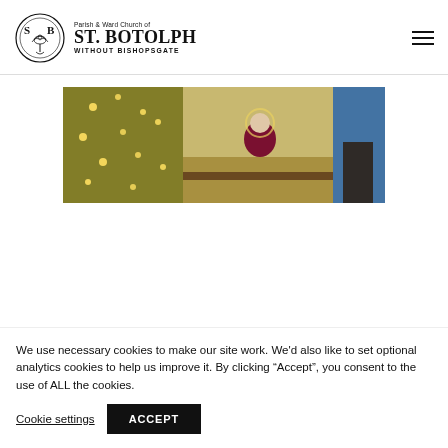[Figure (logo): Parish & Ward Church of St. Botolph Without Bishopsgate logo with circular emblem and church name text]
[Figure (photo): Interior of St. Botolph without Bishopsgate church at Christmas, showing a priest in purple vestments seated at the altar with a decorated Christmas tree on the left]
We use necessary cookies to make our site work. We'd also like to set optional analytics cookies to help us improve it. By clicking “Accept”, you consent to the use of ALL the cookies.
Cookie settings
ACCEPT